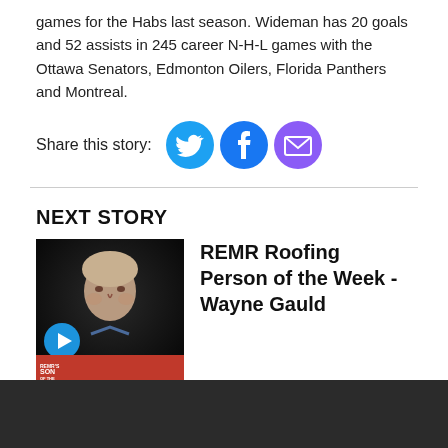games for the Habs last season. Wideman has 20 goals and 52 assists in 245 career N-H-L games with the Ottawa Senators, Edmonton Oilers, Florida Panthers and Montreal.
Share this story:
[Figure (illustration): Social share icons: Twitter (cyan circle), Facebook (dark blue circle), Email (purple circle)]
NEXT STORY
[Figure (photo): Thumbnail photo of Wayne Gauld, an older man with grey-blonde hair, with a play button overlay and a red 'Person of the Week' badge at the bottom.]
REMR Roofing Person of the Week - Wayne Gauld